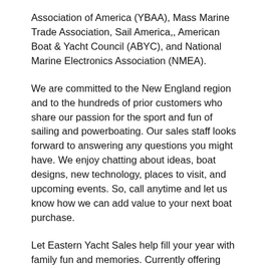Association of America (YBAA), Mass Marine Trade Association, Sail America,, American Boat & Yacht Council (ABYC), and National Marine Electronics Association (NMEA).
We are committed to the New England region and to the hundreds of prior customers who share our passion for the sport and fun of sailing and powerboating. Our sales staff looks forward to answering any questions you might have. We enjoy chatting about ideas, boat designs, new technology, places to visit, and upcoming events. So, call anytime and let us know how we can add value to your next boat purchase.
Let Eastern Yacht Sales help fill your year with family fun and memories. Currently offering great savings on all new and pre-owned boats at our locations from Maine to Connecticut. Eastern Yacht Sales is sure to have the right boat for you.